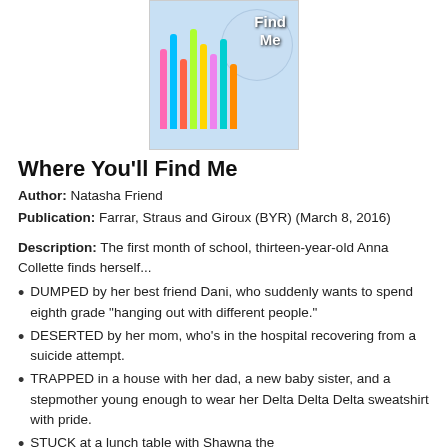[Figure (photo): Book cover of 'Where You'll Find Me' showing colorful straws/pencils and a decorative sphere, with the title text overlaid.]
Where You'll Find Me
Author: Natasha Friend
Publication: Farrar, Straus and Giroux (BYR) (March 8, 2016)
Description: The first month of school, thirteen-year-old Anna Collette finds herself...
DUMPED by her best friend Dani, who suddenly wants to spend eighth grade "hanging out with different people."
DESERTED by her mom, who's in the hospital recovering from a suicide attempt.
TRAPPED in a house with her dad, a new baby sister, and a stepmother young enough to wear her Delta Delta Delta sweatshirt with pride.
STUCK at a lunch table with Shawna the